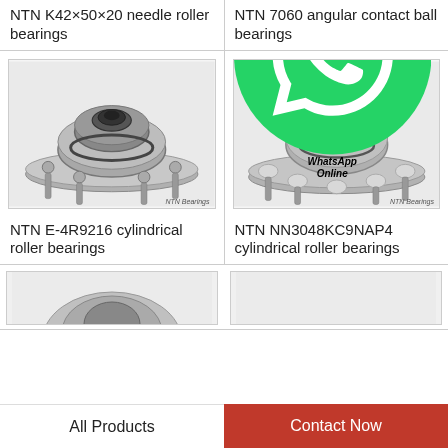NTN K42×50×20 needle roller bearings
NTN 7060 angular contact ball bearings
[Figure (photo): NTN E-4R9216 cylindrical roller bearing hub assembly with protruding bolts, silver/grey metal, NTN Bearings watermark]
[Figure (photo): NTN NN3048KC9NAP4 cylindrical roller bearing hub assembly with bolts and WhatsApp Online overlay, NTN Bearings watermark]
NTN E-4R9216 cylindrical roller bearings
NTN NN3048KC9NAP4 cylindrical roller bearings
[Figure (photo): Partial view of another NTN bearing product (bottom left, partially visible)]
[Figure (photo): Partial view of another NTN bearing product (bottom right, partially visible)]
All Products
Contact Now